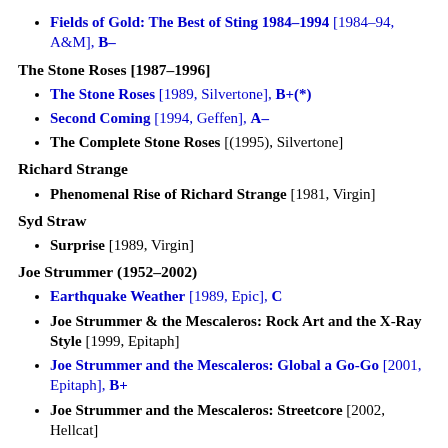Fields of Gold: The Best of Sting 1984–1994 [1984–94, A&M], B–
The Stone Roses [1987–1996]
The Stone Roses [1989, Silvertone], B+(*)
Second Coming [1994, Geffen], A–
The Complete Stone Roses [(1995), Silvertone]
Richard Strange
Phenomenal Rise of Richard Strange [1981, Virgin]
Syd Straw
Surprise [1989, Virgin]
Joe Strummer (1952–2002)
Earthquake Weather [1989, Epic], C
Joe Strummer & the Mescaleros: Rock Art and the X-Ray Style [1999, Epitaph]
Joe Strummer and the Mescaleros: Global a Go-Go [2001, Epitaph], B+
Joe Strummer and the Mescaleros: Streetcore [2002, Hellcat]